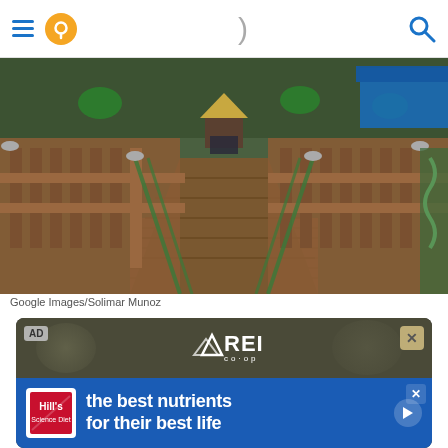Navigation header with hamburger menu, location pin icon, divider, and search icon
[Figure (photo): Outdoor playground with wooden bridge/walkway, wooden fence railings, decorative palm trees, and a small sign at the end of the path. Blue playground structure visible on the right.]
Google Images/Solimar Munoz
[Figure (screenshot): Advertisement area showing REI Co-op logo at top with 'AD' label, followed by Hill's pet nutrition banner ad with text 'the best nutrients for their best life' and a play button, then a blurred photo of a person below.]